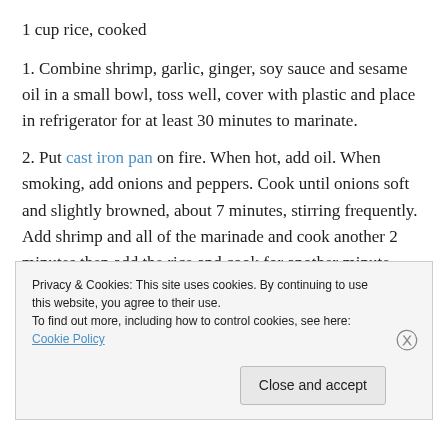1 cup rice, cooked
1. Combine shrimp, garlic, ginger, soy sauce and sesame oil in a small bowl, toss well, cover with plastic and place in refrigerator for at least 30 minutes to marinate.
2. Put cast iron pan on fire. When hot, add oil. When smoking, add onions and peppers. Cook until onions soft and slightly browned, about 7 minutes, stirring frequently. Add shrimp and all of the marinade and cook another 2 minutes then add the rice and cook for another minute,
Privacy & Cookies: This site uses cookies. By continuing to use this website, you agree to their use.
To find out more, including how to control cookies, see here: Cookie Policy